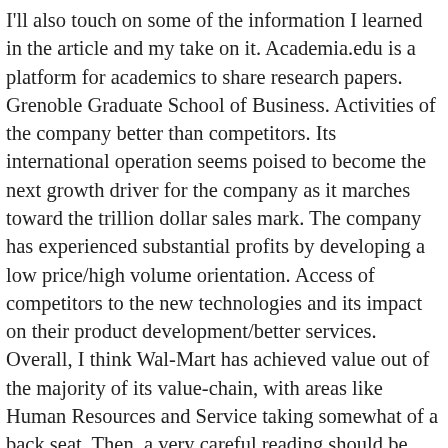I'll also touch on some of the information I learned in the article and my take on it. Academia.edu is a platform for academics to share research papers. Grenoble Graduate School of Business. Activities of the company better than competitors. Its international operation seems poised to become the next growth driver for the company as it marches toward the trillion dollar sales mark. The company has experienced substantial profits by developing a low price/high volume orientation. Access of competitors to the new technologies and its impact on their product development/better services. Overall, I think Wal-Mart has achieved value out of the majority of its value-chain, with areas like Human Resources and Service taking somewhat of a back seat. Then, a very careful reading should be done at second time reading of the case. 4. After defining the problems and constraints, analysis of the case study is begin. Initial reading is to get a rough idea of what information is provided for the analyses. it deals with the ability of customers to take down the prices. The decision